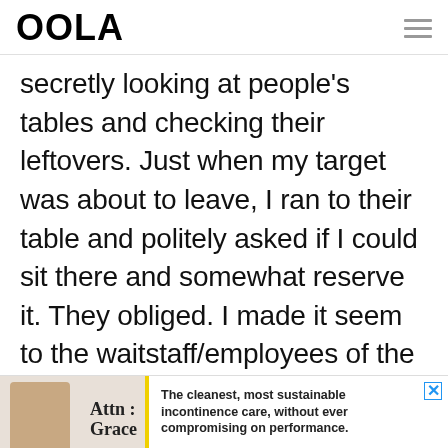OOLA
secretly looking at people's tables and checking their leftovers. Just when my target was about to leave, I ran to their table and politely asked if I could sit there and somewhat reserve it. They obliged. I made it seem to the waitstaff/employees of the
[Figure (other): Advertisement banner for Attn: Grace incontinence care product. Shows a person's torso, a yellow accent bar, and ad text: 'The cleanest, most sustainable incontinence care, without ever compromising on performance.']